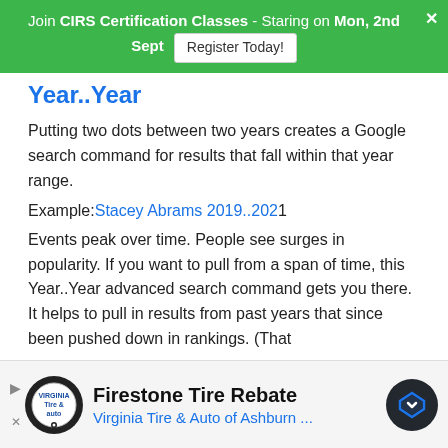Join CIRS Certification Classes - Staring on Mon, 2nd Sept  Register Today!
Year..Year
Putting two dots between two years creates a Google search command for results that fall within that year range.
Example: Stacey Abrams 2019..2021
Events peak over time. People see surges in popularity. If you want to pull from a span of time, this Year..Year advanced search command gets you there. It helps to pull in results from past years that since been pushed down in rankings. (That
Firestone Tire Rebate
Virginia Tire & Auto of Ashburn ...